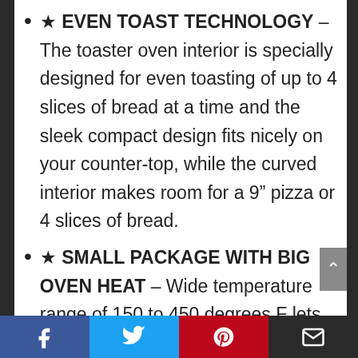★ EVEN TOAST TECHNOLOGY – The toaster oven interior is specially designed for even toasting of up to 4 slices of bread at a time and the sleek compact design fits nicely on your counter-top, while the curved interior makes room for a 9" pizza or 4 slices of bread.
★ SMALL PACKAGE WITH BIG OVEN HEAT – Wide temperature range of 150 to 450 degrees F lets you cook with the convenience of an oven and the natural convection circulates air for faster, even